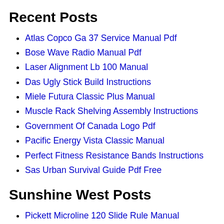Recent Posts
Atlas Copco Ga 37 Service Manual Pdf
Bose Wave Radio Manual Pdf
Laser Alignment Lb 100 Manual
Das Ugly Stick Build Instructions
Miele Futura Classic Plus Manual
Muscle Rack Shelving Assembly Instructions
Government Of Canada Logo Pdf
Pacific Energy Vista Classic Manual
Perfect Fitness Resistance Bands Instructions
Sas Urban Survival Guide Pdf Free
Sunshine West Posts
Pickett Microline 120 Slide Rule Manual